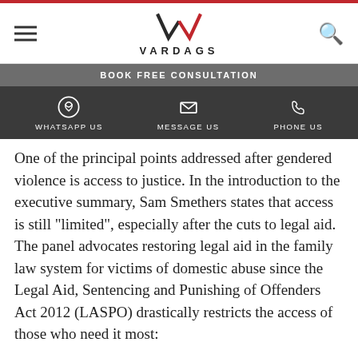VARDAGS
BOOK FREE CONSULTATION
WHATSAPP US   MESSAGE US   PHONE US
One of the principal points addressed after gendered violence is access to justice. In the introduction to the executive summary, Sam Smethers states that access is still “limited”, especially after the cuts to legal aid. The panel advocates restoring legal aid in the family law system for victims of domestic abuse since the Legal Aid, Sentencing and Punishing of Offenders Act 2012 (LASPO) drastically restricts the access of those who need it most:
“The pursuit of equality is significantly undermined by the lack of access to justice; legal rights that cannot be exercised become